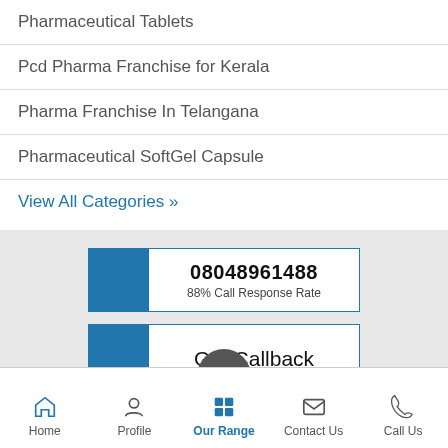Pharmaceutical Tablets
Pcd Pharma Franchise for Kerala
Pharma Franchise In Telangana
Pharmaceutical SoftGel Capsule
View All Categories »
08048961488
88% Call Response Rate
Get Callback
Home | Profile | Our Range | Contact Us | Call Us